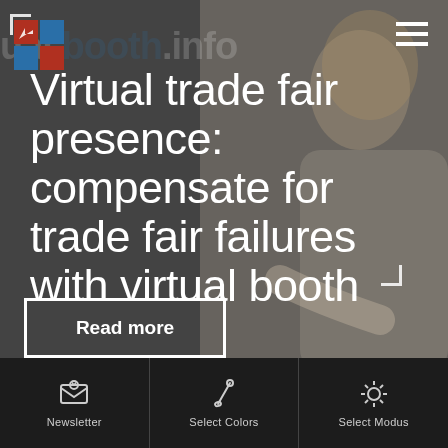[Figure (screenshot): Website hero banner showing a woman pointing, with virtual booth logo and overlay text, on a dark blurred background]
Virtual trade fair presence: compensate for trade fair failures with virtual booth
Read more
Newsletter | Select Colors | Select Modus